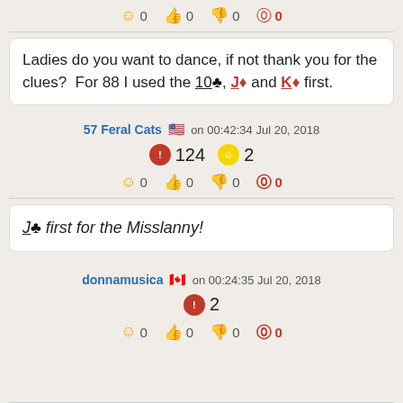😊 0  👍 0  👎 0  ⚠ 0
Ladies do you want to dance, if not thank you for the clues?  For 88 I used the 10♣, J♦ and K♦ first.
57 Feral Cats 🇺🇸 on 00:42:34 Jul 20, 2018
🏅 124  ⭐ 2
😊 0  👍 0  👎 0  ⚠ 0
J♣ first for the Misslanny!
donnamusica 🇨🇦 on 00:24:35 Jul 20, 2018
🏅 2
😊 0  👍 0  👎 0  ⚠ 0